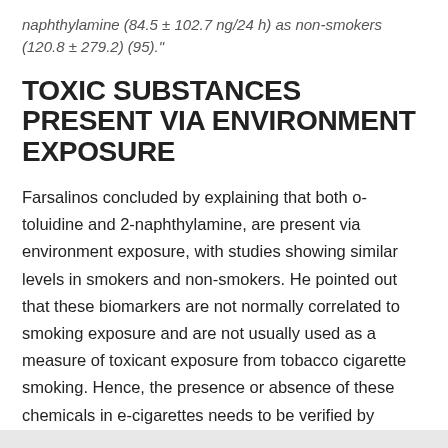naphthylamine (84.5 ± 102.7 ng/24 h) as non-smokers (120.8 ± 279.2) (95)."
TOXIC SUBSTANCES PRESENT VIA ENVIRONMENT EXPOSURE
Farsalinos concluded by explaining that both o-toluidine and 2-naphthylamine, are present via environment exposure, with studies showing similar levels in smokers and non-smokers. He pointed out that these biomarkers are not normally correlated to smoking exposure and are not usually used as a measure of toxicant exposure from tobacco cigarette smoking. Hence, the presence or absence of these chemicals in e-cigarettes needs to be verified by analyzing the aerosol.